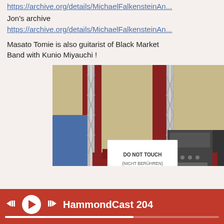https://archive.org/details/MichaelFalkensteinAn...
Jon's archive
https://archive.org/details/MichaelFalkensteinAn...
Masato Tomie is also guitarist of Black Market Band with Kunio Miyauchi !
[Figure (photo): Indoor event photo showing metal truss scaffold structure with red and khaki/tan striped wall behind it. In the foreground is a red display table with a white sign reading 'DO NOT TOUCH (NICHT BERÜHREN)' and audio equipment. A person in a blue shirt is partially visible on the left, and another person in dark clothing partially visible on the right.]
HammondCast 204